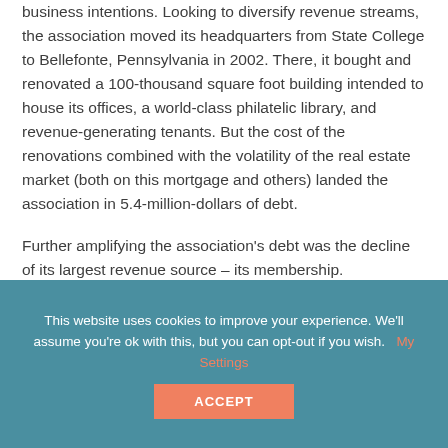business intentions. Looking to diversify revenue streams, the association moved its headquarters from State College to Bellefonte, Pennsylvania in 2002. There, it bought and renovated a 100-thousand square foot building intended to house its offices, a world-class philatelic library, and revenue-generating tenants. But the cost of the renovations combined with the volatility of the real estate market (both on this mortgage and others) landed the association in 5.4-million-dollars of debt.
Further amplifying the association's debt was the decline of its largest revenue source – its membership.
[Figure (illustration): Dark blue stamp/postage stamp illustration, partially visible, showing a perforated edge stamp with a line/wave graphic on it]
This website uses cookies to improve your experience. We'll assume you're ok with this, but you can opt-out if you wish. My Settings ACCEPT